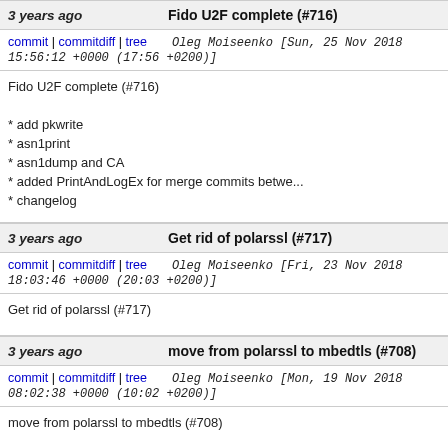3 years ago   Fido U2F complete (#716)
commit | commitdiff | tree   Oleg Moiseenko [Sun, 25 Nov 2018 15:56:12 +0000 (17:56 +0200)]
Fido U2F complete (#716)
* add pkwrite
* asn1print
* asn1dump and CA
* added PrintAndLogEx for merge commits betwe...
* changelog
3 years ago   Get rid of polarssl (#717)
commit | commitdiff | tree   Oleg Moiseenko [Fri, 23 Nov 2018 18:03:46 +0000 (20:03 +0200)]
Get rid of polarssl (#717)
3 years ago   move from polarssl to mbedtls (#708)
commit | commitdiff | tree   Oleg Moiseenko [Mon, 19 Nov 2018 08:02:38 +0000 (10:02 +0200)]
move from polarssl to mbedtls (#708)
* update polarssl to mbedtls
* fix a warning in armsrc/iso15693